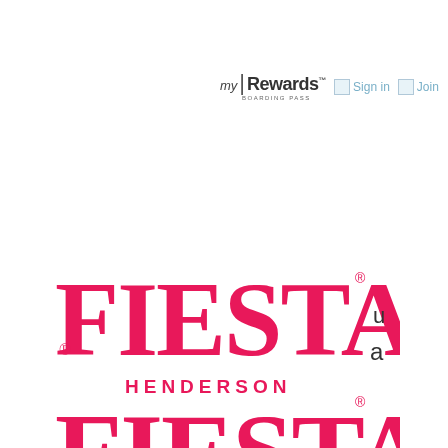[Figure (logo): my|Rewards BOARDING PASS loyalty program logo with Sign in and Join links]
[Figure (logo): FIESTA HENDERSON casino logo in hot pink decorative serif font with registered trademark symbol]
[Figure (logo): FIESTA casino logo (second instance, partially cropped at bottom) in hot pink decorative serif font with registered trademark symbol]
u
a